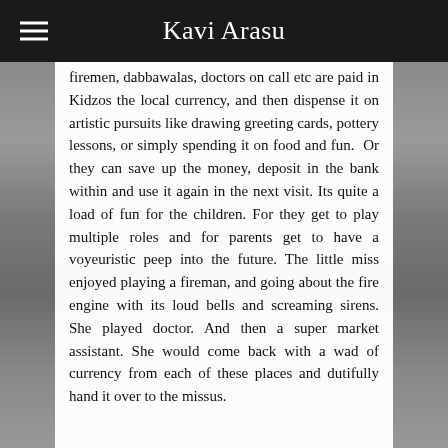Kavi Arasu
firemen, dabbawalas, doctors on call etc are paid in Kidzos the local currency, and then dispense it on artistic pursuits like drawing greeting cards, pottery lessons, or simply spending it on food and fun.  Or they can save up the money, deposit in the bank within and use it again in the next visit. Its quite a load of fun for the children. For they get to play multiple roles and for parents get to have a voyeuristic peep into the future. The little miss enjoyed playing a fireman, and going about the fire engine with its loud bells and screaming sirens. She played doctor. And then a super market assistant. She would come back with a wad of currency from each of these places and dutifully hand it over to the missus.